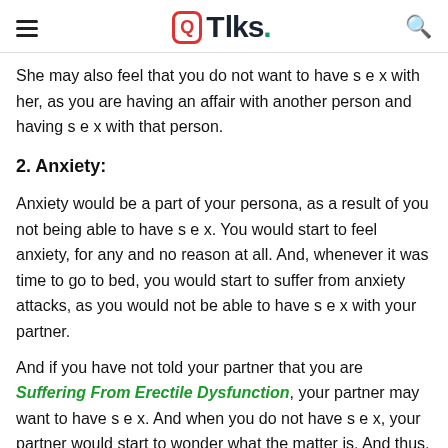QTalks.
She may also feel that you do not want to have s e x with her, as you are having an affair with another person and having s e x with that person.
2. Anxiety:
Anxiety would be a part of your persona, as a result of you not being able to have s e x. You would start to feel anxiety, for any and no reason at all. And, whenever it was time to go to bed, you would start to suffer from anxiety attacks, as you would not be able to have s e x with your partner.
And if you have not told your partner that you are Suffering From Erectile Dysfunction, your partner may want to have s e x. And when you do not have s e x, your partner would start to wonder what the matter is. And thus, your anxiety would start to reach new levels of high.